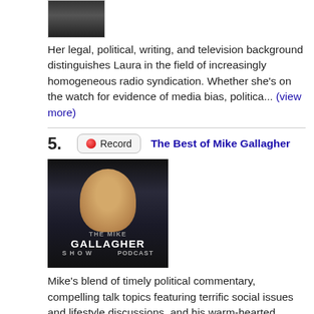[Figure (photo): Small thumbnail image at the top, partially visible, dark tones]
Her legal, political, writing, and television background distinguishes Laura in the field of increasingly homogeneous radio syndication. Whether she's on the watch for evidence of media bias, politica... (view more)
5. Record — The Best of Mike Gallagher
[Figure (photo): The Mike Gallagher Show promotional image showing Mike Gallagher against a dark background with his name displayed]
Mike's blend of timely political commentary, compelling talk topics featuring terrific social issues and lifestyle discussions, and his warm-hearted perspective as a husband and father of four childre... (view more)
6. Record — Bob Golic
[Figure (logo): WNIR 100 FM The Talk of Akron logo on purple/magenta background with yellow text]
Bob to discuss and explore and examine a part of the